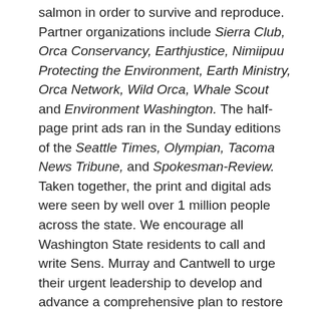salmon in order to survive and reproduce. Partner organizations include Sierra Club, Orca Conservancy, Earthjustice, Nimiipuu Protecting the Environment, Earth Ministry, Orca Network, Wild Orca, Whale Scout and Environment Washington. The half-page print ads ran in the Sunday editions of the Seattle Times, Olympian, Tacoma News Tribune, and Spokesman-Review. Taken together, the print and digital ads were seen by well over 1 million people across the state. We encourage all Washington State residents to call and write Sens. Murray and Cantwell to urge their urgent leadership to develop and advance a comprehensive plan to restore the lower Snake River and its salmon and invest in Northwest communities and infrastructure. See the top story above for further information on recent signs of engagement by Sen. Murray and a continuing lack of engagement by Sen. Cantwell. You can learn more about this ad campaign and find links to further information here.